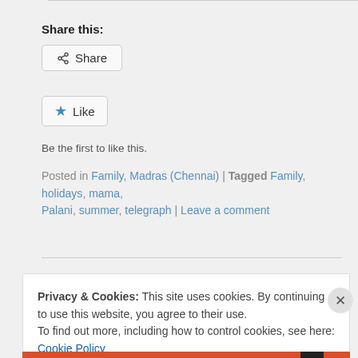Share this:
[Figure (screenshot): Share button with share icon]
[Figure (screenshot): Like button with blue star icon]
Be the first to like this.
Posted in Family, Madras (Chennai) | Tagged Family, holidays, mama, Palani, summer, telegraph | Leave a comment
Privacy & Cookies: This site uses cookies. By continuing to use this website, you agree to their use. To find out more, including how to control cookies, see here: Cookie Policy
Close and accept